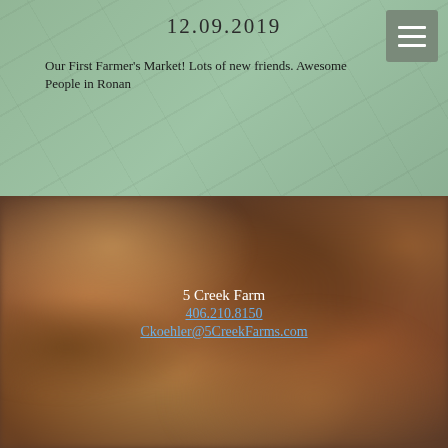12.09.2019
Our First Farmer's Market! Lots of new friends. Awesome People in Ronan
[Figure (photo): Blurry close-up photo of a farm animal with reddish-brown fur, lower half of page background]
5 Creek Farm
406.210.8150
Ckoehler@5CreekFarms.com